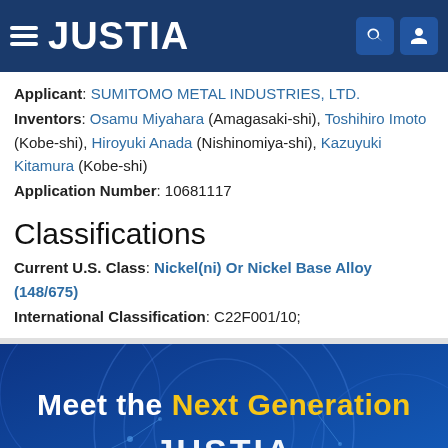JUSTIA
Applicant: SUMITOMO METAL INDUSTRIES, LTD.
Inventors: Osamu Miyahara (Amagasaki-shi), Toshihiro Imoto (Kobe-shi), Hiroyuki Anada (Nishinomiya-shi), Kazuyuki Kitamura (Kobe-shi)
Application Number: 10681117
Classifications
Current U.S. Class: Nickel(ni) Or Nickel Base Alloy (148/675)
International Classification: C22F001/10;
[Figure (illustration): Justia promotional banner with decorative circular tech lines, text 'Meet the Next Generation' and Justia logo on dark blue background]